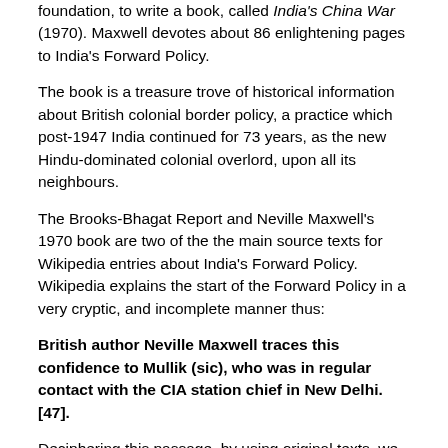foundation, to write a book, called India's China War (1970). Maxwell devotes about 86 enlightening pages to India's Forward Policy.
The book is a treasure trove of historical information about British colonial border policy, a practice which post-1947 India continued for 73 years, as the new Hindu-dominated colonial overlord, upon all its neighbours.
The Brooks-Bhagat Report and Neville Maxwell's 1970 book are two of the the main source texts for Wikipedia entries about India's Forward Policy. Wikipedia explains the start of the Forward Policy in a very cryptic, and incomplete manner thus:
British author Neville Maxwell traces this confidence to Mullik (sic), who was in regular contact with the CIA station chief in New Delhi.[47].
Deciphering this passage, by using original texts, we understand that then Director of India's Police Intelligence Bureau, Mr B.M. Malik, to give his correct name and designation, was the liaison between the Indian government and the CIA station chief in 1961, probably in New Delhi, from where the Forward Policy was thought up. This Forward Policy gave India the confidence to face